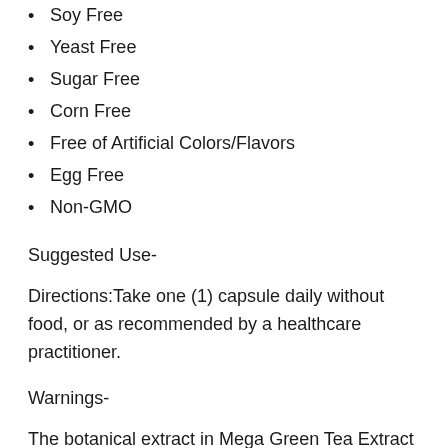Soy Free
Yeast Free
Sugar Free
Corn Free
Free of Artificial Colors/Flavors
Egg Free
Non-GMO
Suggested Use-
Directions:Take one (1) capsule daily without food, or as recommended by a healthcare practitioner.
Warnings-
The botanical extract in Mega Green Tea Extract has been concentrated and dual standardized to ensure the highest quality, consistency, and biological activity. Each serving contains a small amount of caffeine (max. of 3.6 mg).